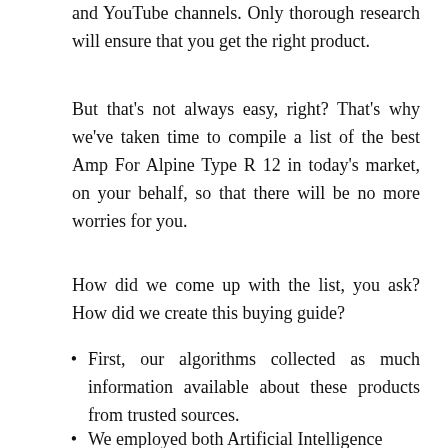and YouTube channels. Only thorough research will ensure that you get the right product.
But that's not always easy, right? That's why we've taken time to compile a list of the best Amp For Alpine Type R 12 in today's market, on your behalf, so that there will be no more worries for you.
How did we come up with the list, you ask? How did we create this buying guide?
First, our algorithms collected as much information available about these products from trusted sources.
We employed both Artificial Intelligence